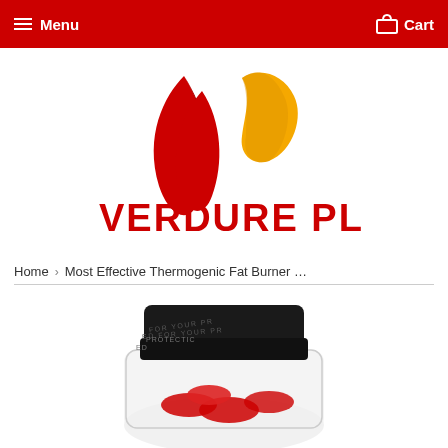Menu  Cart
[Figure (logo): Verdure Plus logo with red and yellow leaf motif above bold red text VERDURE PLUS]
Home  ›  Most Effective Thermogenic Fat Burner …
[Figure (photo): Partial view of a supplement bottle with a black safety-sealed cap reading FOR YOUR PROTECTION, with red capsules visible inside a clear bottle]